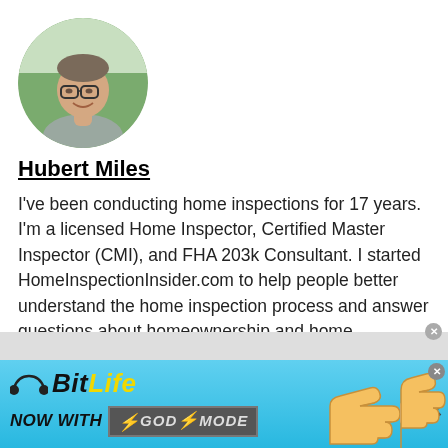[Figure (photo): Circular profile photo of a man with glasses, smiling, wearing a grey shirt, outdoors background.]
Hubert Miles
I've been conducting home inspections for 17 years. I'm a licensed Home Inspector, Certified Master Inspector (CMI), and FHA 203k Consultant. I started HomeInspectionInsider.com to help people better understand the home inspection process and answer questions about homeownership and home maintenance.
[Figure (illustration): BitLife advertisement banner at the bottom: 'BitLife - Now With GOD MODE' with hand cursor illustrations on a blue background.]